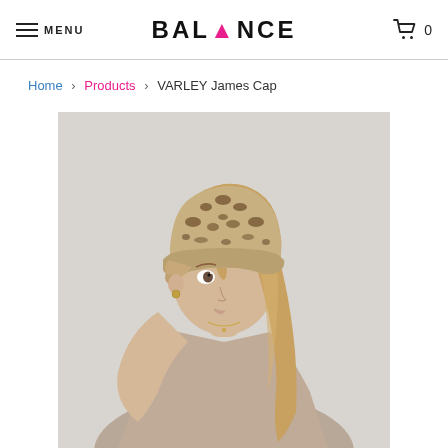MENU | BALANCE | 0
Home > Products > VARLEY James Cap
[Figure (photo): Woman wearing a leopard print baseball cap, adjusting the brim with one hand, wearing a light beige tank top, photographed against a light grey background.]